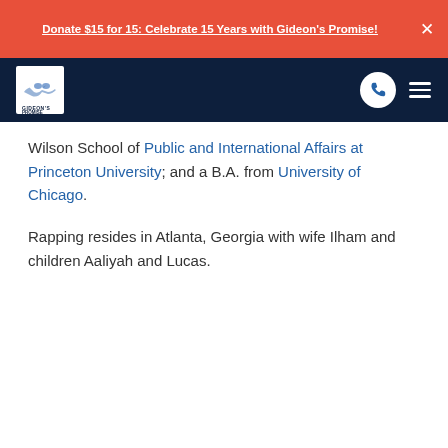Donate $15 for 15: Celebrate 15 Years with Gideon's Promise!
[Figure (logo): Gideon's Promise logo with handshake icon on dark navy navigation bar]
Wilson School of Public and International Affairs at Princeton University; and a B.A. from University of Chicago.
Rapping resides in Atlanta, Georgia with wife Ilham and children Aaliyah and Lucas.